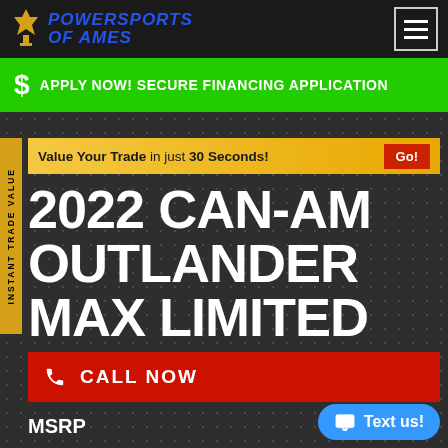POWERSPORTS OF AMES
$ APPLY NOW! SECURE FINANCING APPLICATION
Value Your Trade in just 30 Seconds! Go!
2022 CAN-AM OUTLANDER MAX LIMITED 1000R
New ATVs • Outlander
CALL NOW
Text us!
MSRP